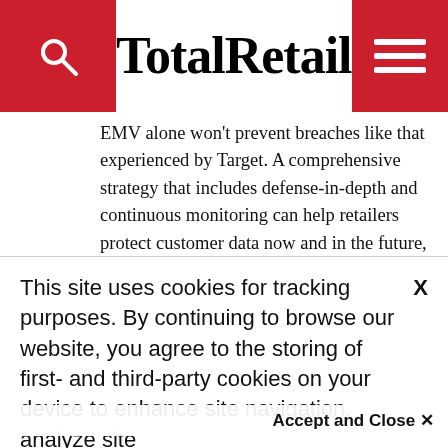TotalRetail
EMV alone won't prevent breaches like that experienced by Target. A comprehensive strategy that includes defense-in-depth and continuous monitoring can help retailers protect customer data now and in the future, regardless of the type of cards customers are using.
Daniel Ingevaldson is CTO for Easy Solutions, a provider of fraud protection solutions against
This site uses cookies for tracking purposes. By continuing to browse our website, you agree to the storing of first- and third-party cookies on your device to enhance site navigation, analyze site
usage, and assist in our marketing and
Accept and Close ✕
Your browser settings do not allow cross-site tracking for advertising. Click on this page to allow AdRoll to use cross-site tracking to tailor ads to you. Learn more or opt out of this AdRoll tracking by clicking here. This message only appears once.